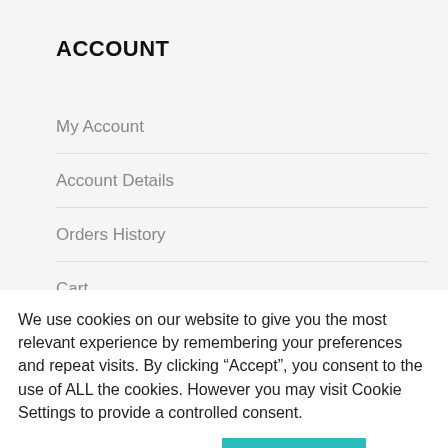ACCOUNT
My Account
Account Details
Orders History
Cart
Checkout
We use cookies on our website to give you the most relevant experience by remembering your preferences and repeat visits. By clicking “Accept”, you consent to the use of ALL the cookies. However you may visit Cookie Settings to provide a controlled consent.
Cookie settings  ACCEPT